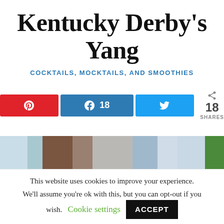Kentucky Derby's Yang
COCKTAILS, MOCKTAILS, AND SMOOTHIES
[Figure (infographic): Social share buttons row: Pinterest (red), Facebook with 18 count (blue), Twitter (light blue), and share count showing 18 SHARES]
[Figure (photo): Partial image strip showing cocktail drinks, brown and white colors, with green element on right edge]
This website uses cookies to improve your experience. We'll assume you're ok with this, but you can opt-out if you wish.
Cookie settings  ACCEPT